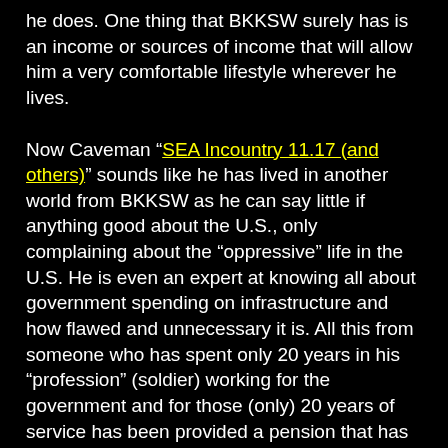he does. One thing that BKKSW surely has is an income or sources of income that will allow him a very comfortable lifestyle wherever he lives.
Now Caveman “SEA Incountry 11.17 (and others)” sounds like he has lived in another world from BKKSW as he can say little if anything good about the U.S., only complaining about the “oppressive” life in the U.S. He is even an expert at knowing all about government spending on infrastructure and how flawed and unnecessary it is. All this from someone who has spent only 20 years in his “profession” (soldier) working for the government and for those (only) 20 years of service has been provided a pension that has allowed him to retire in his early 40s. How many people do you know that can work in